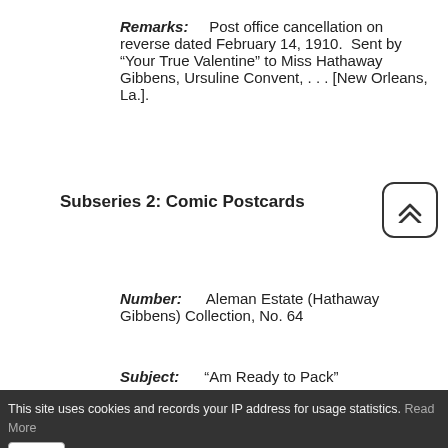Remarks: Post office cancellation on reverse dated February 14, 1910. Sent by “Your True Valentine” to Miss Hathaway Gibbens, Ursuline Convent, . . . [New Orleans, La.].
Subseries 2: Comic Postcards
Number: Aleman Estate (Hathaway Gibbens) Collection, No. 64
Subject: “Am Ready to Pack”
This site uses cookies and records your IP address for usage statistics. Read More OK